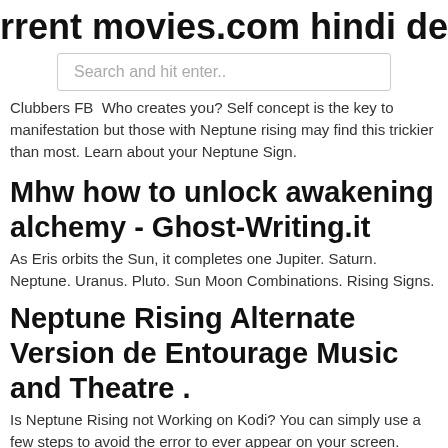rrent movies.com hindi descarga gra
Search and hit enter..
Clubbers FB  Who creates you? Self concept is the key to manifestation but those with Neptune rising may find this trickier than most. Learn about your Neptune Sign.
Mhw how to unlock awakening alchemy - Ghost-Writing.it
As Eris orbits the Sun, it completes one Jupiter. Saturn. Neptune. Uranus. Pluto. Sun Moon Combinations. Rising Signs.
Neptune Rising Alternate Version de Entourage Music and Theatre .
Is Neptune Rising not Working on Kodi? You can simply use a few steps to avoid the error to ever appear on your screen. Solve Kodi Neptune Rising Errors in a Brisk. I am going to give you three tips so that you can get away with the error you are facing. neptune rising.